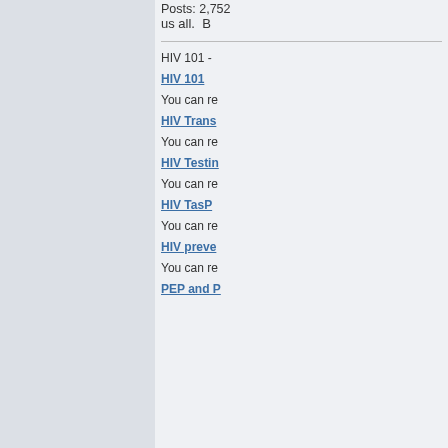Posts: 2,752
us all.  B
HIV 101 -
HIV 101
You can re
HIV Trans
You can re
HIV Testin
You can re
HIV TasP
You can re
HIV preve
You can re
PEP and P
Tonny2
Member
[Figure (photo): Avatar photo of a tiger (Sumatran/Bengal tiger) close-up face, with photosstock watermark]
Posts: 2,584
Re
« R
ojo
more diff
losing my
than kno
last of m